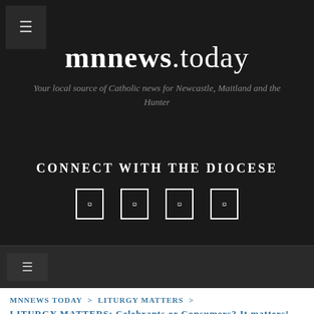[Figure (logo): mnnews.today website header with dark background, site logo/title, tagline, and social media connect section]
mnnews.today
Your local source of Catholic news for Newcastle, Maitland and the Hunter
CONNECT WITH THE DIOCESE
[Figure (other): Four social media icons (Facebook, Twitter, Instagram, YouTube) displayed as white-outlined rectangles]
MNNEWS TODAY > LITURGY MATTERS > LITURGY MATTERS: Celebrants or Consumers? It matters! Interlude: Can you send an apple by email?